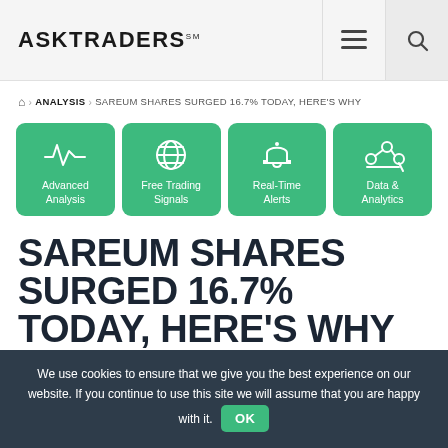ASKTRADERS
🏠 › ANALYSIS › SAREUM SHARES SURGED 16.7% TODAY, HERE'S WHY
[Figure (infographic): Four green rounded-rectangle feature cards with white icons: Advanced Analysis (heartbeat/pulse icon), Free Trading Signals (globe icon), Real-Time Alerts (bell icon), Data & Analytics (network/analytics icon)]
SAREUM SHARES SURGED 16.7% TODAY, HERE'S WHY
We use cookies to ensure that we give you the best experience on our website. If you continue to use this site we will assume that you are happy with it. OK